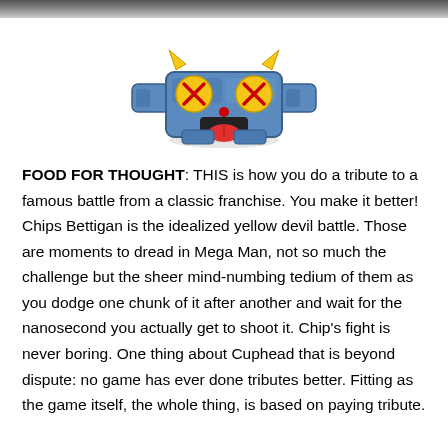[Figure (illustration): Cartoon character Chips Bettigan from Cuphead — a blue blocky robot-like creature with X-marked eyes, tongue sticking out, and small devil horns, shown from the front against a white background.]
FOOD FOR THOUGHT: THIS is how you do a tribute to a famous battle from a classic franchise. You make it better! Chips Bettigan is the idealized yellow devil battle. Those are moments to dread in Mega Man, not so much the challenge but the sheer mind-numbing tedium of them as you dodge one chunk of it after another and wait for the nanosecond you actually get to shoot it. Chip's fight is never boring. One thing about Cuphead that is beyond dispute: no game has ever done tributes better. Fitting as the game itself, the whole thing, is based on paying tribute.